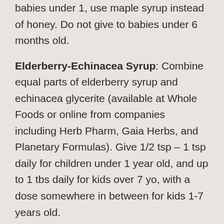babies under 1, use maple syrup instead of honey. Do not give to babies under 6 months old.
Elderberry-Echinacea Syrup: Combine equal parts of elderberry syrup and echinacea glycerite (available at Whole Foods or online from companies including Herb Pharm, Gaia Herbs, and Planetary Formulas). Give 1/2 tsp – 1 tsp daily for children under 1 year old, and up to 1 tbs daily for kids over 7 yo, with a dose somewhere in between for kids 1-7 years old.
Herbal Steams: Place 7 drops of thyme essential oil onto a washcloth. Toss this under the stream of very hot water in the bathroom shower. Close the bathroom door and let the bathroom fill up with hot